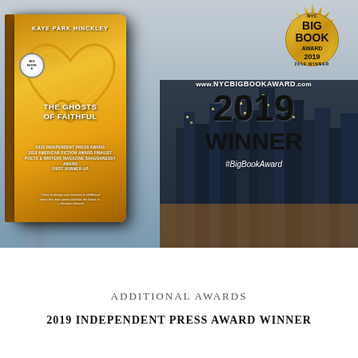[Figure (illustration): Promotional banner image for 'The Ghosts of Faithful' by Kaye Park Hinckley. Shows the book cover with a gold heart design on the left, a NYC Big Book Award 2019 Winner gold seal medallion in the upper right, large '2019 WINNER' text in the center right, website www.NYCBIGBOOKAWARD.com, hashtag #BigBookAward, and a New York City skyline in the background.]
ADDITIONAL AWARDS
2019 INDEPENDENT PRESS AWARD WINNER